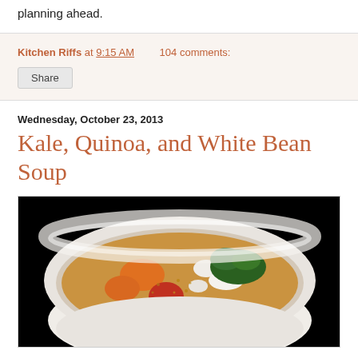planning ahead.
Kitchen Riffs at 9:15 AM   104 comments:
Share
Wednesday, October 23, 2013
Kale, Quinoa, and White Bean Soup
[Figure (photo): A white bowl filled with Kale, Quinoa, and White Bean Soup showing tomatoes, carrots, white beans, kale, and broth, photographed against a black background.]